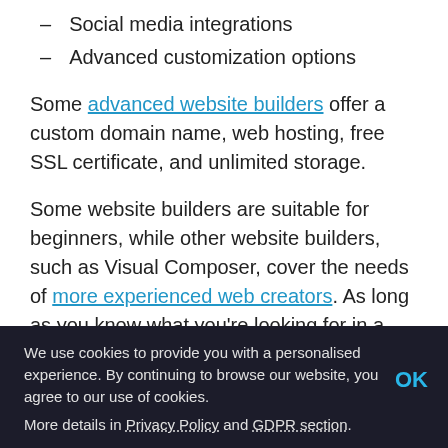- Social media integrations
- Advanced customization options
Some advanced website builders offer a custom domain name, web hosting, free SSL certificate, and unlimited storage.
Some website builders are suitable for beginners, while other website builders, such as Visual Composer, cover the needs of more experienced web creators. As long as you know what you're looking for in a website builder, you should be able to find a good fit for your small business website.
We use cookies to provide you with a personalised experience. By continuing to browse our website, you agree to our use of cookies.

More details in Privacy Policy and GDPR section.